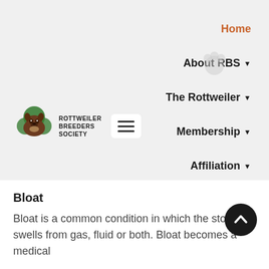[Figure (logo): Rottweiler Breeders Society logo with a rottweiler dog image and green circular elements, alongside text ROTTWEILER BREEDERS SOCIETY]
Home
About RBS
The Rottweiler
Membership
Affiliation
Contact
Bloat
Bloat is a common condition in which the stomach swells from gas, fluid or both. Bloat becomes a medical